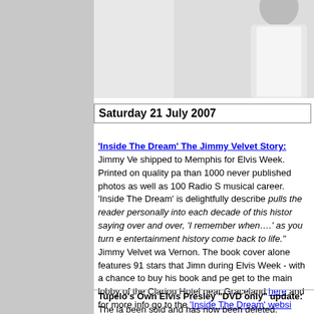[Figure (photo): Partial photo of a person in white clothing, cropped at top]
Saturday 21 July 2007
'Inside The Dream' The Jimmy Velvet Story: Jimmy Ve... shipped to Memphis for Elvis Week. Printed on quality pa... than 1000 never published photos as well as 100 Radio S... musical career. 'Inside The Dream' is delightfully describe... pulls the reader personally into each decade of this histor... saying over and over, 'I remember when....' as you turn e... entertainment history come back to life." Jimmy Velvet wa... Vernon. The book cover alone features 91 stars that Jimn... during Elvis Week - with a chance to buy his book and pe... get to the main lobby of the Clarion Hotel near Graceland... here and for more info go to the 'Inside The Dream' websi...
Tupelo's Own Elvis Presley "DVD only" update: The la... been sold and has now been deleted.

The new DVD only version released 30th July will come i... content on the disc is the same as the previous release a... around.